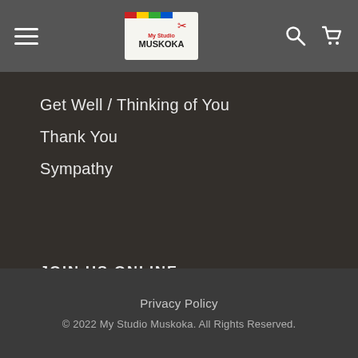My Studio Muskoka - navigation header with hamburger menu, logo, search and cart icons
Get Well / Thinking of You
Thank You
Sympathy
JOIN US ONLINE
[Figure (illustration): Facebook and Instagram social media icon circles in grey outline on dark blurred background]
Privacy Policy
© 2022 My Studio Muskoka. All Rights Reserved.